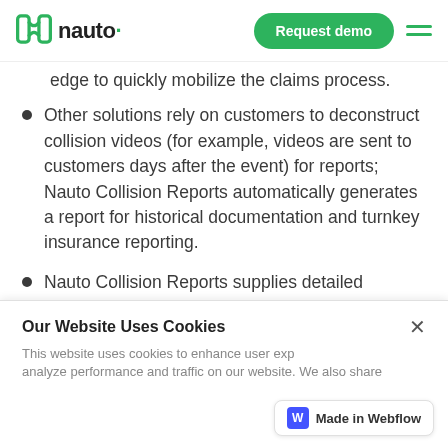nauto · Request demo
edge to quickly mobilize the claims process.
Other solutions rely on customers to deconstruct collision videos (for example, videos are sent to customers days after the event) for reports; Nauto Collision Reports automatically generates a report for historical documentation and turnkey insurance reporting.
Nauto Collision Reports supplies detailed information surrounding an incident to handle the insurance reporting for you.
Our Website Uses Cookies
This website uses cookies to enhance user experience and to analyze performance and traffic on our website. We also share